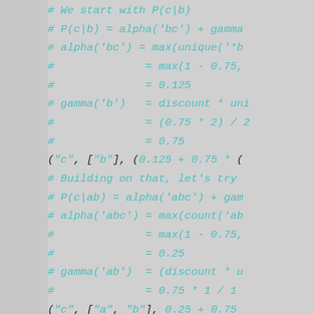# We start with P(c|b)
# P(c|b) = alpha('bc') + gamma
# alpha('bc') = max(unique('*b
#              = max(1 - 0.75,
#              = 0.125
# gamma('b')   = discount * uni
#              = (0.75 * 2) / 2
#              = 0.75
("c", ["b"], (0.125 + 0.75 * (
# Building on that, let's try
# P(c|ab) = alpha('abc') + gam
# alpha('abc') = max(count('ab
#              = max(1 - 0.75,
#              = 0.25
# gamma('ab')  = (discount * u
#              = 0.75 * 1 / 1
("c", ["a", "b"], 0.25 + 0.75